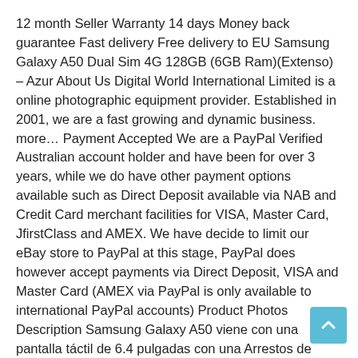12 month Seller Warranty 14 days Money back guarantee Fast delivery Free delivery to EU Samsung Galaxy A50 Dual Sim 4G 128GB (6GB Ram)(Extenso) – Azur About Us Digital World International Limited is a online photographic equipment provider. Established in 2001, we are a fast growing and dynamic business. more… Payment Accepted We are a PayPal Verified Australian account holder and have been for over 3 years, while we do have other payment options available such as Direct Deposit available via NAB and Credit Card merchant facilities for VISA, Master Card, JfirstClass and AMEX. We have decide to limit our eBay store to PayPal at this stage, PayPal does however accept payments via Direct Deposit, VISA and Master Card (AMEX via PayPal is only available to international PayPal accounts) Product Photos Description Samsung Galaxy A50 viene con una pantalla táctil de 6.4 pulgadas con una Arrestos de 1080 píxeles por 2340 píxeles. Samsung Galaxy A50 funciona con el procesador Octa-core y viene con 6 GB de RAM. El teléfono tiene 128 GB de acopio interno que se puede agregar hasta 512 GB a través de una tarjeta microSD. En lo que respecta a las cámaras, la A50 tiene una cámara principal de 25 + 8 + 5 megapíxeles en la parte trasera y un disparador frontal de 25 megapíxeles para selfies. Samsung